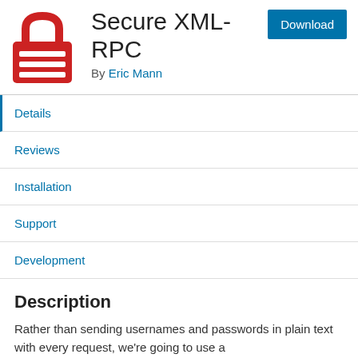[Figure (logo): Red padlock icon for Secure XML-RPC plugin]
Secure XML-RPC
By Eric Mann
Details
Reviews
Installation
Support
Development
Description
Rather than sending usernames and passwords in plain text with every request, we're going to use a